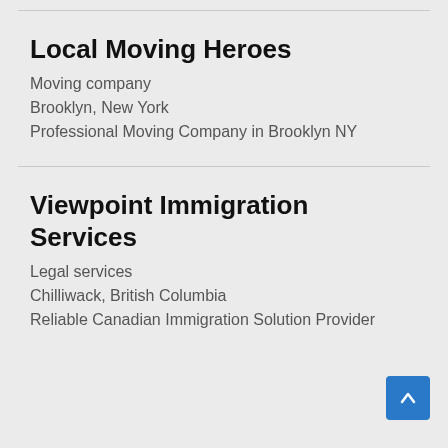Local Moving Heroes
Moving company
Brooklyn, New York
Professional Moving Company in Brooklyn NY
Viewpoint Immigration Services
Legal services
Chilliwack, British Columbia
Reliable Canadian Immigration Solution Provider